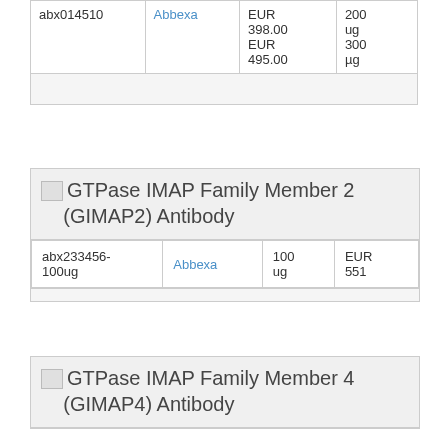| ID | Supplier | Price | Size |
| --- | --- | --- | --- |
| abx014510 | Abbexa | EUR 398.00
EUR 495.00 | 200 ug
300 µg |
| GTPase IMAP Family Member 2 (GIMAP2) Antibody |
| ID | Supplier | Size | Price |
| --- | --- | --- | --- |
| abx233456-100ug | Abbexa | 100 ug | EUR 551 |
| GTPase IMAP Family Member 4 (GIMAP4) Antibody |